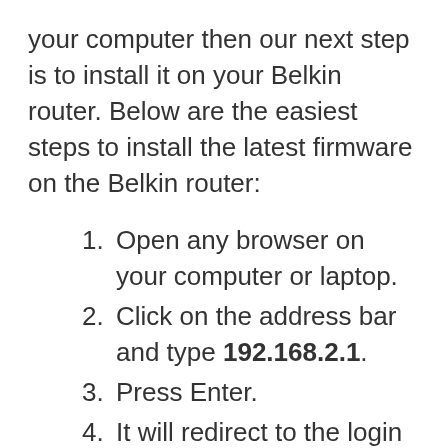your computer then our next step is to install it on your Belkin router. Below are the easiest steps to install the latest firmware on the Belkin router:
Open any browser on your computer or laptop.
Click on the address bar and type 192.168.2.1.
Press Enter.
It will redirect to the login page so type the username and password.